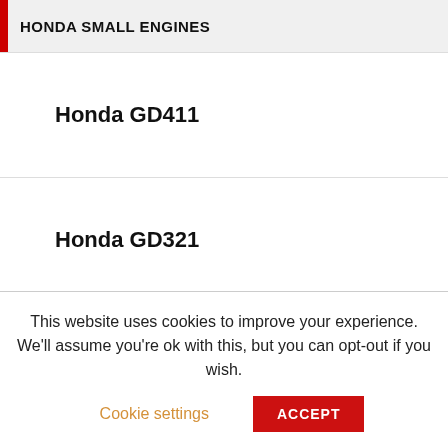HONDA SMALL ENGINES
Honda GD411
Honda GD321
Honda iGX440
This website uses cookies to improve your experience. We'll assume you're ok with this, but you can opt-out if you wish.
Cookie settings | ACCEPT